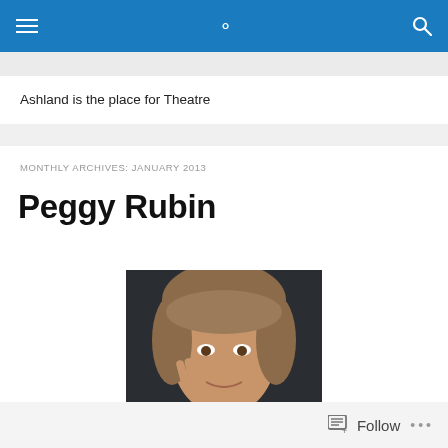Ashland is the place for Theatre
MONTHLY ARCHIVES: JANUARY 2013
Peggy Rubin
[Figure (photo): Portrait photo of a woman with short brown hair, hand raised near her face, smiling slightly, dark background]
Follow